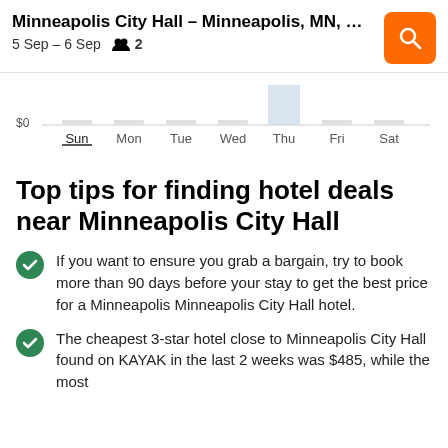Minneapolis City Hall – Minneapolis, MN, Uni... | 5 Sep – 6 Sep  2
[Figure (bar-chart): Bar chart showing hotel price by day of week near Minneapolis City Hall. Thu bar is highlighted in light blue. $0 label visible on y-axis. Sun day is underlined on x-axis.]
Top tips for finding hotel deals near Minneapolis City Hall
If you want to ensure you grab a bargain, try to book more than 90 days before your stay to get the best price for a Minneapolis Minneapolis City Hall hotel.
The cheapest 3-star hotel close to Minneapolis City Hall found on KAYAK in the last 2 weeks was $485, while the most expensive was $535.